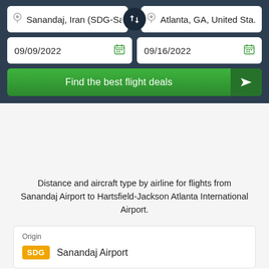[Figure (screenshot): Flight search UI with origin Sanandaj, Iran (SDG), destination Atlanta, GA, United States, departure date 09/09/2022, return date 09/16/2022, and a Find the best flight deals button]
Distance and aircraft type by airline for flights from Sanandaj Airport to Hartsfield-Jackson Atlanta International Airport.
Origin
SDG  Sanandaj Airport